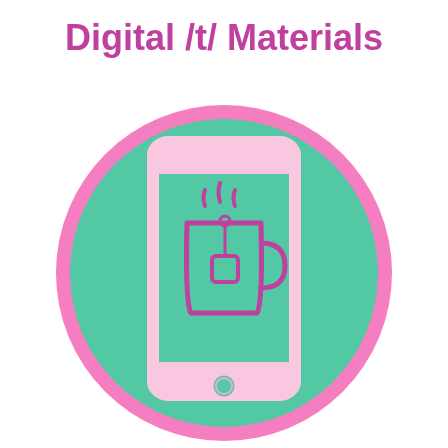Digital /t/ Materials
[Figure (illustration): A large teal/mint green circle with a hot pink border containing a smartphone icon (pink outline on teal background) with a tea cup icon on the screen (pink/magenta outline with steam lines), representing digital /t/ sound learning materials.]